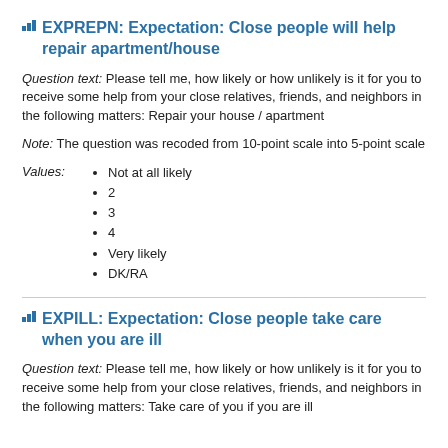EXPREPN: Expectation: Close people will help repair apartment/house
Question text: Please tell me, how likely or how unlikely is it for you to receive some help from your close relatives, friends, and neighbors in the following matters: Repair your house / apartment
Note: The question was recoded from 10-point scale into 5-point scale
Values:
Not at all likely
2
3
4
Very likely
DK/RA
EXPILL: Expectation: Close people take care when you are ill
Question text: Please tell me, how likely or how unlikely is it for you to receive some help from your close relatives, friends, and neighbors in the following matters: Take care of you if you are ill